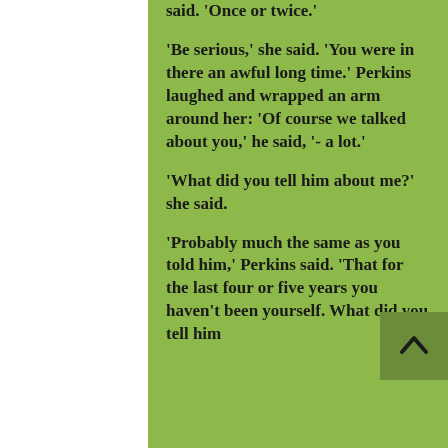said. 'Once or twice.' 'Be serious,' she said. 'You were in there an awful long time.' Perkins laughed and wrapped an arm around her: 'Of course we talked about you,' he said, '- a lot.' 'What did you tell him about me?' she said. 'Probably much the same as you told him,' Perkins said. 'That for the last four or five years you haven't been yourself. What did you tell him